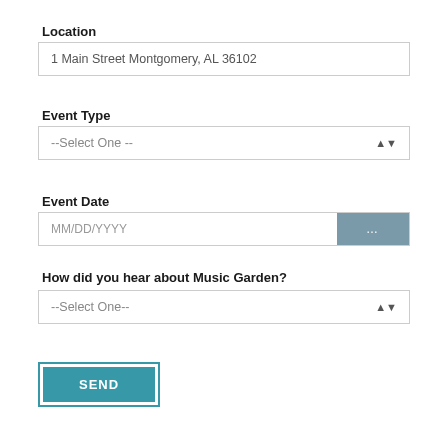Location
1 Main Street Montgomery, AL 36102
Event Type
--Select One --
Event Date
MM/DD/YYYY
How did you hear about Music Garden?
--Select One--
SEND